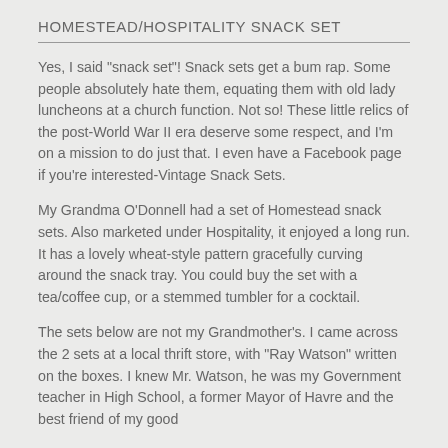HOMESTEAD/HOSPITALITY SNACK SET
Yes, I said "snack set"!  Snack sets get a bum rap.  Some people absolutely hate them, equating them with old lady luncheons at a church function.  Not so!  These little relics of the post-World War II era deserve some respect, and I'm on a mission to do just that.  I even have a Facebook page if you're interested-Vintage Snack Sets.
My Grandma O'Donnell had a set of Homestead snack sets.  Also marketed under Hospitality, it enjoyed a long run.  It has a lovely wheat-style pattern gracefully curving around the snack tray.  You could buy the set with a tea/coffee cup, or a stemmed tumbler for a cocktail.
The sets below are not my Grandmother's.  I came across the 2 sets at a local thrift store, with "Ray Watson" written on the boxes.  I knew Mr. Watson, he was my Government teacher in High School, a former Mayor of Havre and the best friend of my good